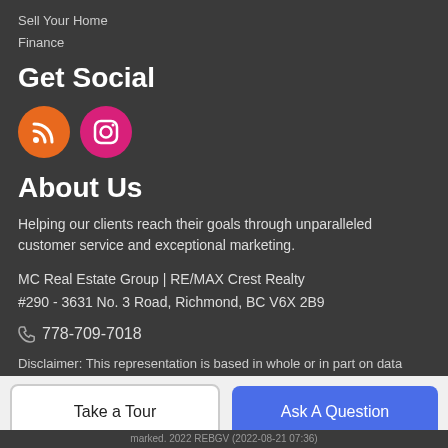Sell Your Home
Finance
Get Social
[Figure (illustration): Two social media icon circles: an orange RSS feed icon and a pink/magenta Instagram icon]
About Us
Helping our clients reach their goals through unparalleled customer service and exceptional marketing.
MC Real Estate Group | RE/MAX Crest Realty
#290 - 3631 No. 3 Road, Richmond, BC V6X 2B9
📞 778-709-7018
Disclaimer: This representation is based in whole or in part on data generated by the Chilliwack & District Real Estate Board. For...